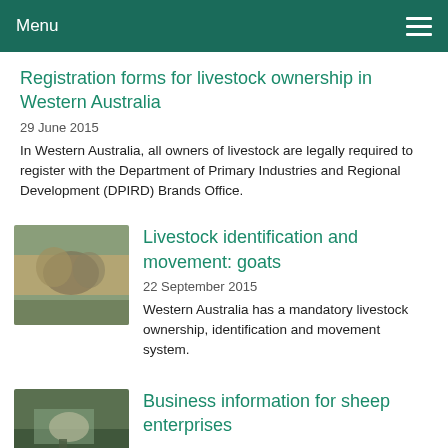Menu
Registration forms for livestock ownership in Western Australia
29 June 2015
In Western Australia, all owners of livestock are legally required to register with the Department of Primary Industries and Regional Development (DPIRD) Brands Office.
[Figure (photo): Thumbnail photo of goats]
Livestock identification and movement: goats
22 September 2015
Western Australia has a mandatory livestock ownership, identification and movement system.
[Figure (photo): Thumbnail photo of sheep enterprise]
Business information for sheep enterprises